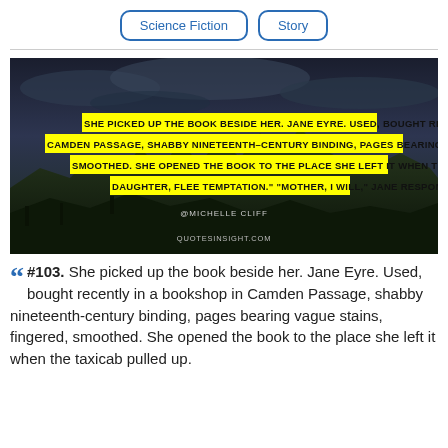Science Fiction | Story
[Figure (photo): Dark dramatic landscape with rocky formations and stormy sky, overlaid with highlighted text quote from Jane Eyre by Michelle Cliff. Yellow highlighted text reads: SHE PICKED UP THE BOOK BESIDE HER. JANE EYRE. USED, BOUGHT RECENTLY IN A BOOKSHOP IN CAMDEN PASSAGE, SHABBY NINETEENTH-CENTURY BINDING, PAGES BEARING VAGUE STAINS, FINGERED, SMOOTHED. SHE OPENED THE BOOK TO THE PLACE SHE LEFT IT WHEN THE TAXICAB PULLED UP. 'MY DAUGHTER, FLEE TEMPTATION.' 'MOTHER, I WILL,' JANE RESPONDED, AS ... Attribution: @MICHELLE CLIFF. Source: QUOTESINSIGHT.COM]
#103. She picked up the book beside her. Jane Eyre. Used, bought recently in a bookshop in Camden Passage, shabby nineteenth-century binding, pages bearing vague stains, fingered, smoothed. She opened the book to the place she left it when the taxicab pulled up.